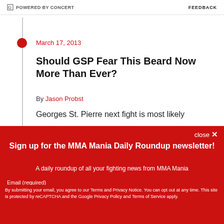POWERED BY CONCERT   FEEDBACK
March 17, 2013
Should GSP Fear This Beard Now More Than Ever?
By Jason Probst
Georges St. Pierre next fight is most likely
Sign up for the MMA Mania Daily Roundup newsletter!
A daily roundup of all your fighting news from MMA Mania
Email (required)
SUBSCRIBE
By submitting your email, you agree to our Terms and Privacy Notice. You can opt out at any time. This site is protected by reCAPTCHA and the Google Privacy Policy and Terms of Service apply.